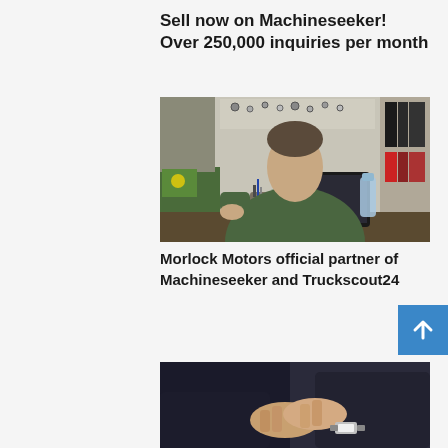Sell now on Machineseeker! Over 250,000 inquiries per month
[Figure (photo): Man in green work uniform sitting at a cluttered desk in a workshop or parts store, looking down at a tablet. Background shows tools, binders, shelves, and various workshop items.]
Morlock Motors official partner of Machineseeker and Truckscout24
[Figure (photo): Two people in suits shaking hands, partial view showing forearms and hands, one person wearing a watch.]